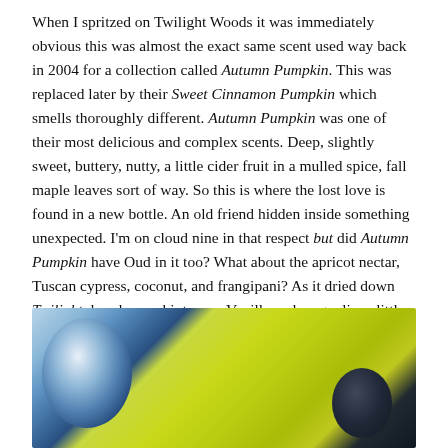When I spritzed on Twilight Woods it was immediately obvious this was almost the exact same scent used way back in 2004 for a collection called Autumn Pumpkin. This was replaced later by their Sweet Cinnamon Pumpkin which smells thoroughly different. Autumn Pumpkin was one of their most delicious and complex scents. Deep, slightly sweet, buttery, nutty, a little cider fruit in a mulled spice, fall maple leaves sort of way. So this is where the lost love is found in a new bottle. An old friend hidden inside something unexpected. I'm on cloud nine in that respect but did Autumn Pumpkin have Oud in it too? What about the apricot nectar, Tuscan cypress, coconut, and frangipani? As it dried down Twilight does have a hint more Vanilla and magnolia, a little less cloves but the scents are so similar to one another.
[Figure (photo): Close-up photo of blue glass perfume bottle against a bright yellow-green background, with another dark bottle partially visible at bottom right.]